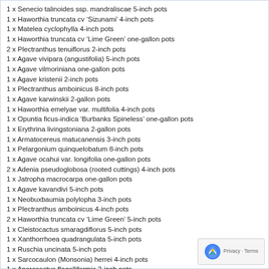1 x Senecio talinoides ssp. mandraliscae 5-inch pots
1 x Haworthia truncata cv 'Sizunami' 4-inch pots
1 x Matelea cyclophylla 4-inch pots
1 x Haworthia truncata cv 'Lime Green' one-gallon pots
2 x Plectranthus tenuiflorus 2-inch pots
1 x Agave vivipara (angustifolia) 5-inch pots
1 x Agave vilmoriniana one-gallon pots
1 x Agave kristenii 2-inch pots
1 x Plectranthus amboinicus 8-inch pots
1 x Agave karwinskii 2-gallon pots
1 x Haworthia emelyae var. multifolia 4-inch pots
1 x Opuntia ficus-indica 'Burbanks Spineless' one-gallon pots
1 x Erythrina livingstoniana 2-gallon pots
1 x Armatocereus matucanensis 3-inch pots
1 x Pelargonium quinquelobatum 8-inch pots
1 x Agave ocahui var. longifolia one-gallon pots
2 x Adenia pseudoglobosa (rooted cuttings) 4-inch pots
1 x Jatropha macrocarpa one-gallon pots
1 x Agave kavandivi 5-inch pots
1 x Neobuxbaumia polylopha 3-inch pots
1 x Plectranthus amboinicus 4-inch pots
2 x Haworthia truncata cv 'Lime Green' 5-inch pots
1 x Cleistocactus smaragdiflorus 5-inch pots
1 x Xanthorrhoea quadrangulata 5-inch pots
1 x Ruschia uncinata 5-inch pots
1 x Sarcocaulon (Monsonia) herrei 4-inch pots
1 x Aporocactus flagelliformis 2-inch pots